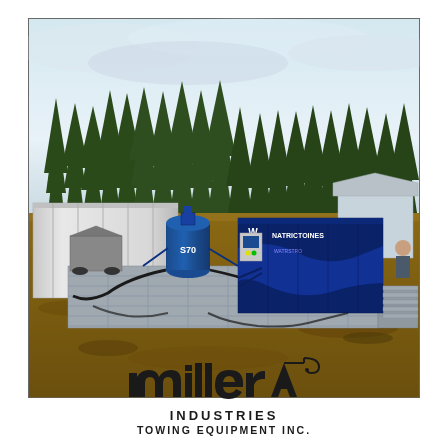[Figure (photo): Outdoor industrial site photo showing blue water treatment equipment including a tall blue cylindrical tank labeled 'S70', blue shipping container with 'Natrictoines' branding, control panel, and various hoses/pipes on a metal platform/matting. White storage containers and tall coniferous trees visible in the background.]
[Figure (logo): Miller Industries Towing Equipment Inc. logo with stylized lowercase 'miller' text with a crane hook forming the letter A, followed by 'INDUSTRIES' and 'TOWING EQUIPMENT INC.' in bold capital letters]